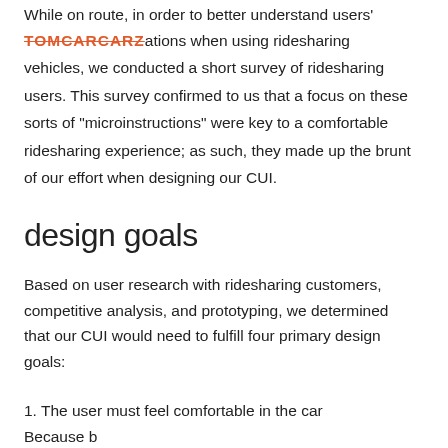While on route, in order to better understand users' needs, desires, and frustrations when using ridesharing vehicles, we conducted a short survey of ridesharing users. This survey confirmed to us that a focus on these sorts of "microinstructions" were key to a comfortable ridesharing experience; as such, they made up the brunt of our effort when designing our CUI.
design goals
Based on user research with ridesharing customers, competitive analysis, and prototyping, we determined that our CUI would need to fulfill four primary design goals:
1. The user must feel comfortable in the car